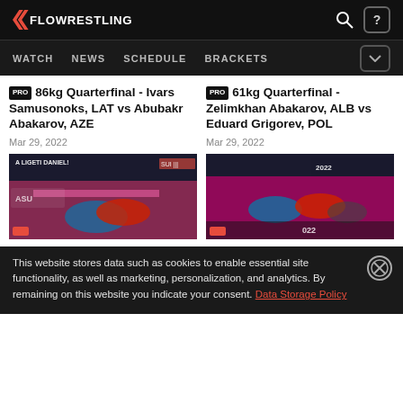FLOWRESTLING
[Figure (screenshot): Flowrestling website navigation bar with WATCH, NEWS, SCHEDULE, BRACKETS links]
PRO 86kg Quarterfinal - Ivars Samusonoks, LAT vs Abubakr Abakarov, AZE
Mar 29, 2022
PRO 61kg Quarterfinal - Zelimkhan Abakarov, ALB vs Eduard Grigorev, POL
Mar 29, 2022
[Figure (photo): Wrestling match photo - left card, two wrestlers competing on mat]
[Figure (photo): Wrestling match photo - right card, wrestlers competing on pink mat]
This website stores data such as cookies to enable essential site functionality, as well as marketing, personalization, and analytics. By remaining on this website you indicate your consent. Data Storage Policy